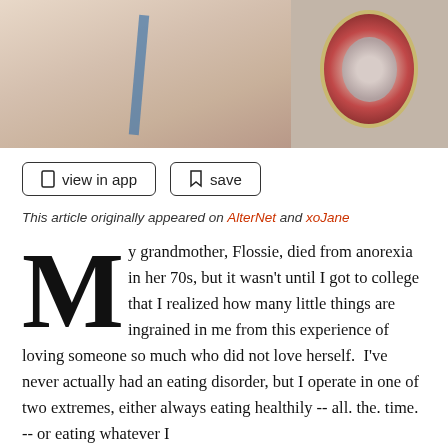[Figure (photo): A photo showing a person's neck/chest area wearing a blue strap, holding a decorative red heart-shaped mirror/locket with a gold border]
view in app   save
This article originally appeared on AlterNet and xoJane
My grandmother, Flossie, died from anorexia in her 70s, but it wasn't until I got to college that I realized how many little things are ingrained in me from this experience of loving someone so much who did not love herself.  I've never actually had an eating disorder, but I operate in one of two extremes, either always eating healthily -- all. the. time. -- or eating whatever I